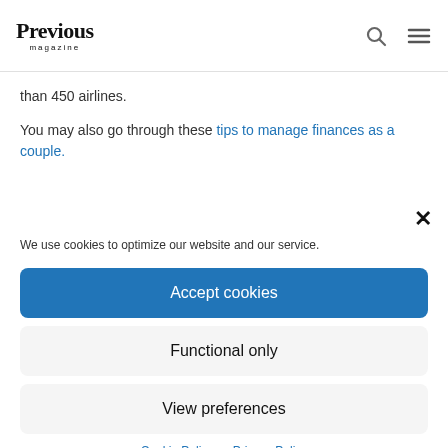Previous Magazine
than 450 airlines.
You may also go through these tips to manage finances as a couple.
We use cookies to optimize our website and our service.
Accept cookies
Functional only
View preferences
Cookie Policy  Privacy Policy